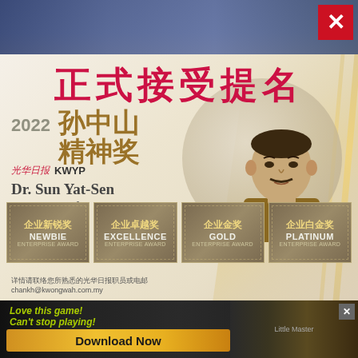[Figure (photo): Top strip showing a blurred crowd photo background, dark blue/gray tones]
[Figure (illustration): Red X close button in top right corner]
正式接受提名
[Figure (infographic): 2022 光华日报 KWYP Dr. Sun Yat-Sen Spirit Awards advertisement with portrait illustration of Dr. Sun Yat-Sen and four award category stamps: 企业新锐奖 NEWBIE ENTERPRISE AWARD, 企业卓越奖 EXCELLENCE ENTERPRISE AWARD, 企业金奖 GOLD ENTERPRISE AWARD, 企业白金奖 PLATINUM ENTERPRISE AWARD]
详情请联络您所熟悉的光华日报职员或电邮
chankh@kwongwah.com.my
[Figure (photo): Bottom advertisement banner with dark background, green italic text 'Love this game! Can't stop playing!', golden Download Now button, and game imagery]